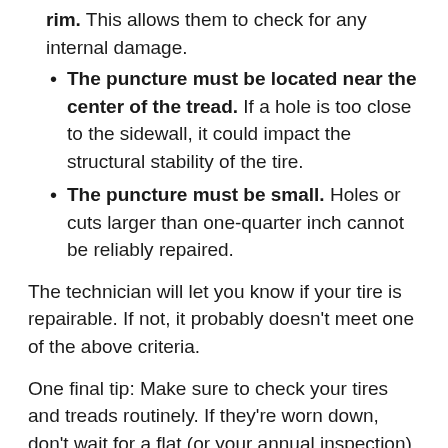rim. This allows them to check for any internal damage.
The puncture must be located near the center of the tread. If a hole is too close to the sidewall, it could impact the structural stability of the tire.
The puncture must be small. Holes or cuts larger than one-quarter inch cannot be reliably repaired.
The technician will let you know if your tire is repairable. If not, it probably doesn't meet one of the above criteria.
One final tip: Make sure to check your tires and treads routinely. If they're worn down, don't wait for a flat (or your annual inspection) to change them out for a new set.